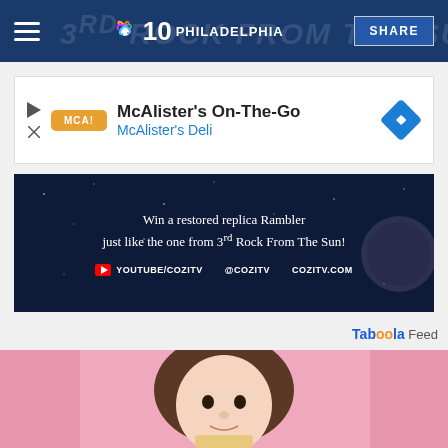NBC 10 Philadelphia — SHARE
[Figure (screenshot): McAlister's On-The-Go advertisement for McAlister's Deli with logo and navigation arrow icon]
[Figure (screenshot): COZI TV advertisement: Win a restored replica Rambler just like the one from 3rd Rock From The Sun! With YouTube/CoziTV, @CoziTV, CoziTV.com links]
Taboola Feed
[Figure (photo): Young woman with dark hair and bangs, smiling slightly, against a pink background, holding something in front of her face]